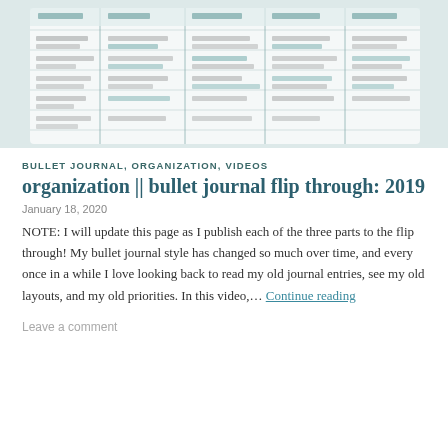[Figure (photo): Photo of a bullet journal spread showing a weekly planner layout with handwritten entries in black and teal ink, organized in columns with grid lines]
BULLET JOURNAL, ORGANIZATION, VIDEOS
organization || bullet journal flip through: 2019
January 18, 2020
NOTE: I will update this page as I publish each of the three parts to the flip through! My bullet journal style has changed so much over time, and every once in a while I love looking back to read my old journal entries, see my old layouts, and my old priorities. In this video,… Continue reading
Leave a comment